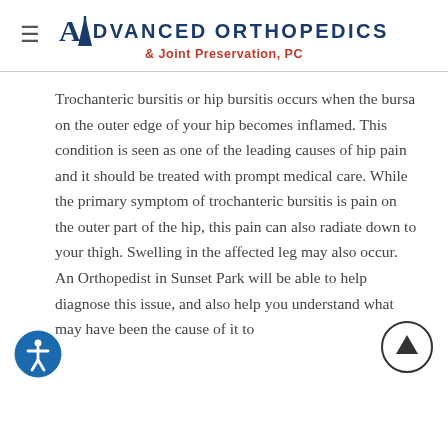Advanced Orthopedics & Joint Preservation, PC
Trochanteric bursitis or hip bursitis occurs when the bursa on the outer edge of your hip becomes inflamed. This condition is seen as one of the leading causes of hip pain and it should be treated with prompt medical care. While the primary symptom of trochanteric bursitis is pain on the outer part of the hip, this pain can also radiate down to your thigh. Swelling in the affected leg may also occur. An Orthopedist in Sunset Park will be able to help diagnose this issue, and also help you understand what may have been the cause of it to